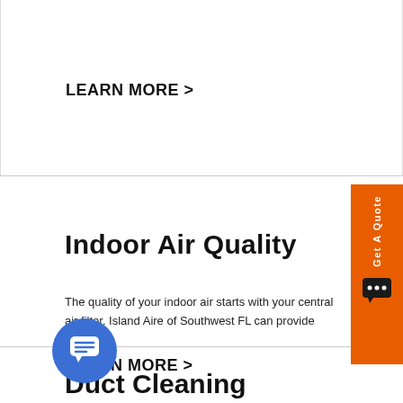LEARN MORE >
Indoor Air Quality
The quality of your indoor air starts with your central air filter. Island Aire of Southwest FL can provide you..
LEARN MORE >
Duct Cleaning